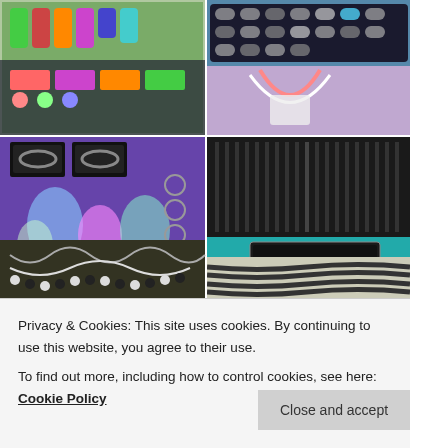[Figure (photo): Collage of jewelry display photos: colorful earrings and jewelry on display stands, rings in display cases, necklaces and bracelets on purple cloth with organza bags, a jewelry stall with teal tablecloth labeled 'Little Gifts of Southsea', and leather cord necklaces.]
Privacy & Cookies: This site uses cookies. By continuing to use this website, you agree to their use.
To find out more, including how to control cookies, see here: Cookie Policy
Close and accept
[Figure (photo): Bottom strip: two partial photos of jewelry items — earrings on left, colorful beads on right.]